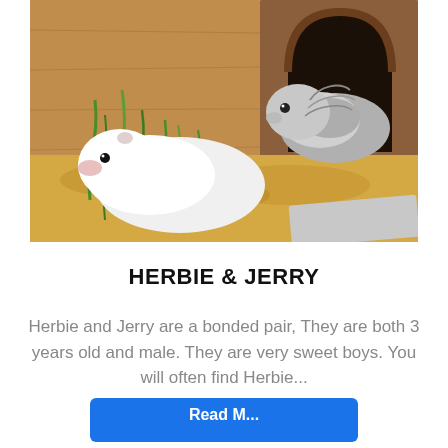[Figure (photo): Two guinea pigs inside a wooden hutch. One is white and sitting on hay in the foreground; the other is grey and white, peeking out of an arched wooden hideaway door in the background. The floor is covered with hay and wood shavings.]
HERBIE & JERRY
Herbie and Jerry are a bonded pair, They are both 3 years old and male. They are very sweet boys. You will often find Herbie...